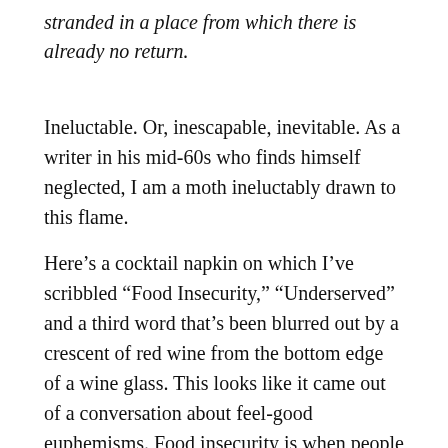stranded in a place from which there is already no return.
Ineluctable. Or, inescapable, inevitable. As a writer in his mid-60s who finds himself neglected, I am a moth ineluctably drawn to this flame.
Here’s a cocktail napkin on which I’ve scribbled “Food Insecurity,” “Underserved” and a third word that’s been blurred out by a crescent of red wine from the bottom edge of a wine glass. This looks like it came out of a conversation about feel-good euphemisms. Food insecurity is when people are starving, which should not happen in a nation of rich people. Underserved is when minorities can’t have access to decent schools or health